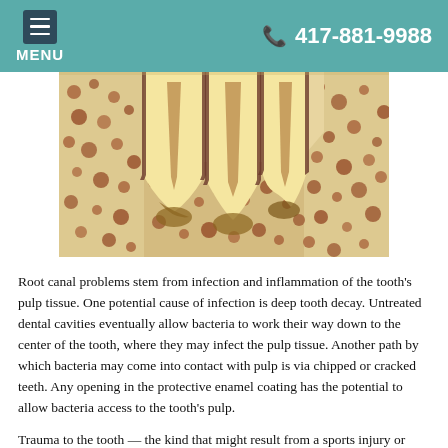MENU  417-881-9988
[Figure (illustration): Cross-sectional anatomical illustration of teeth showing roots embedded in jawbone, with visible pulp tissue, root canals, and surrounding bone structure with a spongy texture and reddish-brown spots.]
Root canal problems stem from infection and inflammation of the tooth's pulp tissue. One potential cause of infection is deep tooth decay. Untreated dental cavities eventually allow bacteria to work their way down to the center of the tooth, where they may infect the pulp tissue. Another path by which bacteria may come into contact with pulp is via chipped or cracked teeth. Any opening in the protective enamel coating has the potential to allow bacteria access to the tooth's pulp.
Trauma to the tooth — the kind that might result from a sports injury or automobile accident, for example — is also a major